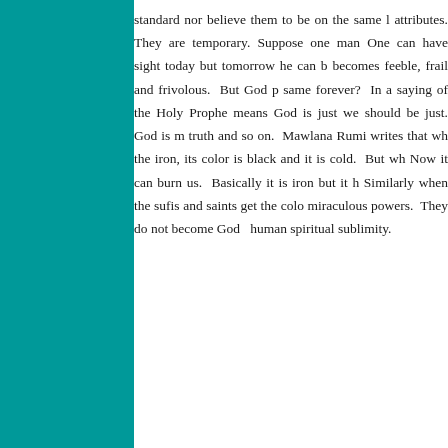standard nor believe them to be on the same level as divine attributes. They are temporary. Suppose one man... One can have sight today but tomorrow he can become blind... becomes feeble, frail and frivolous. But God possesses the same forever? In a saying of the Holy Prophet... means God is just we should be just. God is merciful... truth and so on. Mawlana Rumi writes that when we look at the iron, its color is black and it is cold. But when it is heated. Now it can burn us. Basically it is iron but it has fire color. Similarly when the sufis and saints get the color of God they get miraculous powers. They do not become God ... human spiritual sublimity.